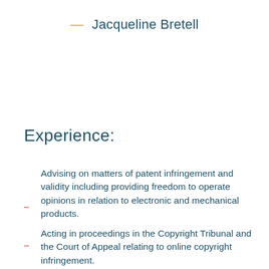— Jacqueline Bretell
Experience:
Advising on matters of patent infringement and validity including providing freedom to operate opinions in relation to electronic and mechanical products.
Acting in proceedings in the Copyright Tribunal and the Court of Appeal relating to online copyright infringement.